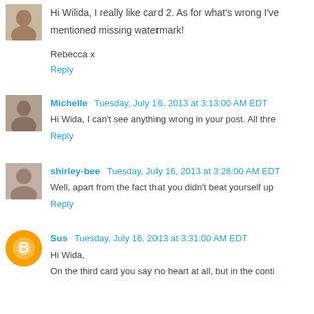Hi Wilida, I really like card 2. As for what's wrong I've mentioned missing watermark!

Rebecca x
Reply
Michelle  Tuesday, July 16, 2013 at 3:13:00 AM EDT
Hi Wida, I can't see anything wrong in your post. All thre
Reply
shirley-bee  Tuesday, July 16, 2013 at 3:28:00 AM EDT
Well, apart from the fact that you didn't beat yourself up
Reply
Sus  Tuesday, July 16, 2013 at 3:31:00 AM EDT
Hi Wida,
On the third card you say no heart at all, but in the conti